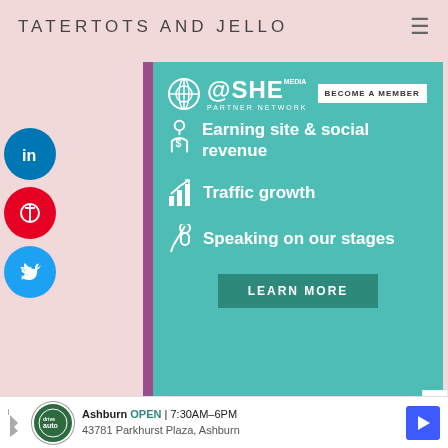TATERTOTS AND JELLO
[Figure (infographic): SHE Media Partner Network ad with teal background and purple left border. Contains SHE Media logo, 'Become a Member' button, three list items with icons: 'Earning site & social revenue', 'Traffic growth', 'Speaking on our stages', and a 'LEARN MORE' dark teal button.]
[Figure (logo): The Pioneer Woman cursive logo in teal/green color with butterfly icon on pink background]
[Figure (infographic): Bottom advertisement bar: Ashburn auto service, OPEN 7:30AM-6PM, 43781 Parkhurst Plaza Ashburn, with blue navigation arrow icon]